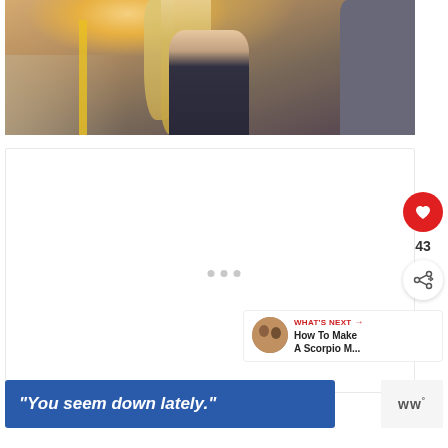[Figure (photo): Photo of a blonde woman in a black strapless dress outdoors on a street, with sunlight in the background and a man in gray on the right side. Yellow pole visible on the left.]
[Figure (infographic): White card area with loading indicator dots (three gray dots) and social interaction buttons: a red heart button, a count of 43, and a share button.]
43
WHAT'S NEXT → How To Make A Scorpio M...
[Figure (photo): Small circular thumbnail of a couple for the What's Next section.]
"You seem down lately."
[Figure (logo): Small logo with letters 'ww' and a degree symbol, on light background.]